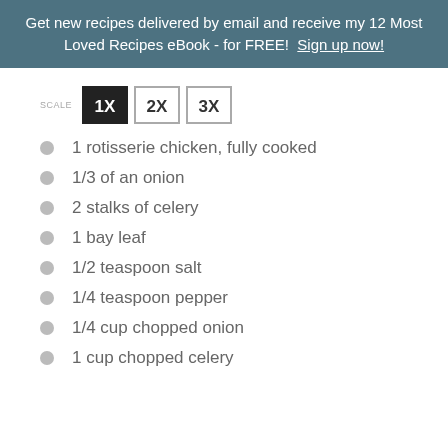Get new recipes delivered by email and receive my 12 Most Loved Recipes eBook - for FREE!  Sign up now!
1 rotisserie chicken, fully cooked
1/3 of an onion
2 stalks of celery
1 bay leaf
1/2 teaspoon salt
1/4 teaspoon pepper
1/4 cup chopped onion
1 cup chopped celery